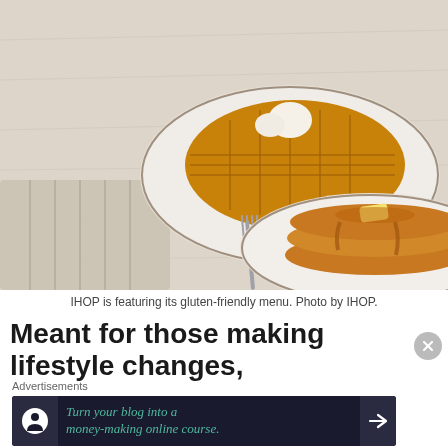[Figure (photo): IHOP food photo showing a plate with waffles and a plate with a stack of pancakes topped with butter and syrup, with a fork and striped cloth napkin on a white wood surface.]
IHOP is featuring its gluten-friendly menu. Photo by IHOP.
Meant for those making lifestyle changes,
Advertisements
[Figure (infographic): Advertisement banner: dark navy background with a white circle icon showing a person at a desk, green italic text reading 'Turn your blog into a money-making online course.' with a right arrow button on the right side.]